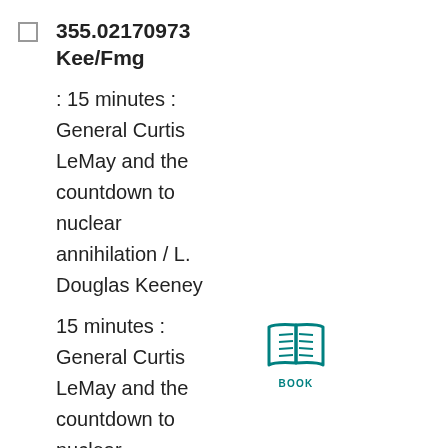355.02170973 Kee/Fmg
: 15 minutes : General Curtis LeMay and the countdown to nuclear annihilation / L. Douglas Keeney
15 minutes : General Curtis LeMay and the countdown to nuclear annihilation / L. Douglas Keeney
W'PONDS
[Figure (illustration): Open book icon in teal color with the label BOOK below it]
2011
355.02170973